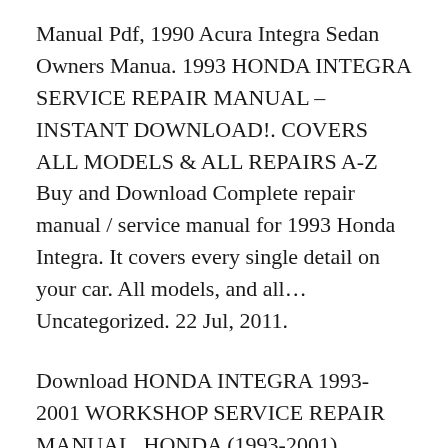Manual Pdf, 1990 Acura Integra Sedan Owners Manua. 1993 HONDA INTEGRA SERVICE REPAIR MANUAL – INSTANT DOWNLOAD!. COVERS ALL MODELS & ALL REPAIRS A-Z Buy and Download Complete repair manual / service manual for 1993 Honda Integra. It covers every single detail on your car. All models, and all… Uncategorized. 22 Jul, 2011.
Download HONDA INTEGRA 1993-2001 WORKSHOP SERVICE REPAIR MANUAL. HONDA (1993-2001) INTEGRA Factory Service & Body Repair Manuals. Apply for Engine Code: 1.8L B18B / 1.8L B18C 5/31/2010 · Acura Integra (1993) service manual AutoRepMans.com "repair Manual car" - will help the car owner to the manual repair car, the user manual and